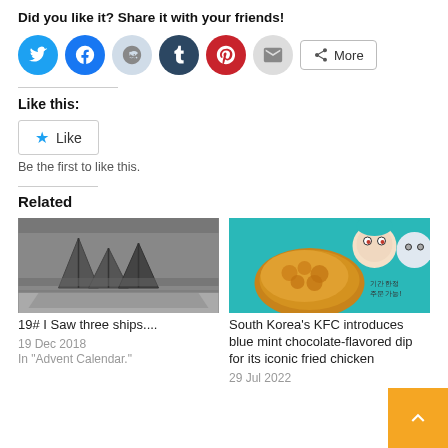Did you like it? Share it with your friends!
[Figure (infographic): Social sharing icons: Twitter (blue), Facebook (blue), Reddit (light blue), Tumblr (dark navy), Pinterest (red), Email (grey), and a More button]
Like this:
[Figure (infographic): Like button with blue star icon]
Be the first to like this.
Related
[Figure (photo): Black and white illustration of ships]
19# I Saw three ships....
19 Dec 2018
In "Advent Calendar."
[Figure (photo): KFC advertisement on teal background with cartoon characters and fried chicken piece, Korean text reads 기간 한정 주문 가능]
South Korea's KFC introduces blue mint chocolate-flavored dip for its iconic fried chicken
29 Jul 2022